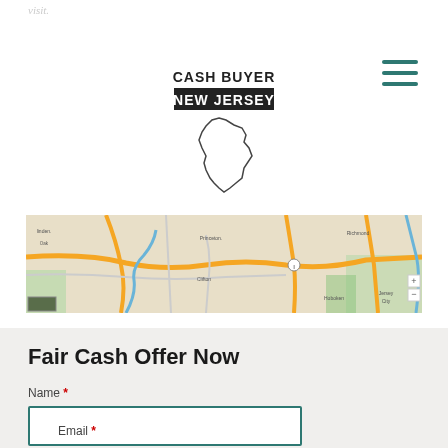visit.
[Figure (logo): Cash Buyer New Jersey logo with outline of New Jersey state]
[Figure (map): Street map showing New Jersey/Philadelphia area roads and highways]
Fair Cash Offer Now
Name *
Email *